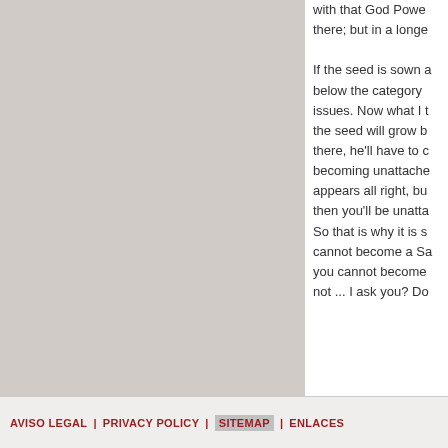with that God Power there; but in a longe If the seed is sown a below the category issues. Now what I t the seed will grow b there, he'll have to d becoming unattache appears all right, bu then you'll be unatta So that is why it is s cannot become a Sa you cannot become not ... I ask you? Do
AVISO LEGAL | PRIVACY POLICY | SITEMAP | ENLACES